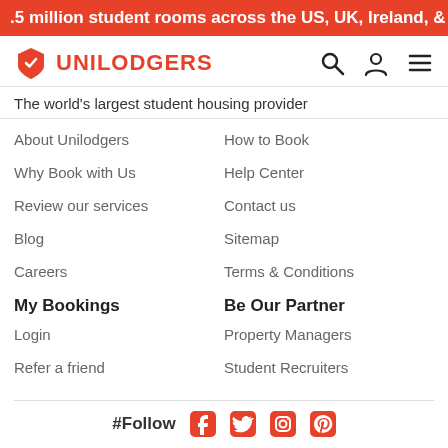.5 million student rooms across the US, UK, Ireland, & Australia
[Figure (logo): Unilodgers shield logo with brand name]
The world's largest student housing provider
About Unilodgers
How to Book
Why Book with Us
Help Center
Review our services
Contact us
Blog
Sitemap
Careers
Terms & Conditions
My Bookings
Be Our Partner
Login
Property Managers
Refer a friend
Student Recruiters
#Follow